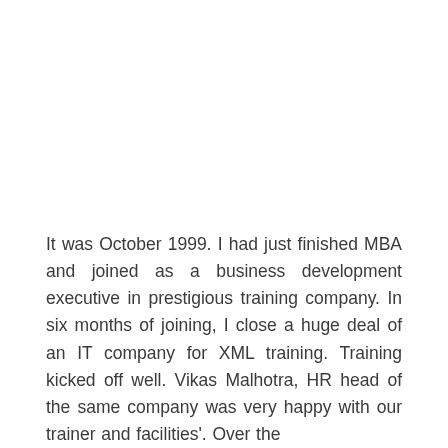It was October 1999. I had just finished MBA and joined as a business development executive in prestigious training company. In six months of joining, I close a huge deal of an IT company for XML training. Training kicked off well. Vikas Malhotra, HR head of the same company was very happy with our trainer and facilities'. Over the